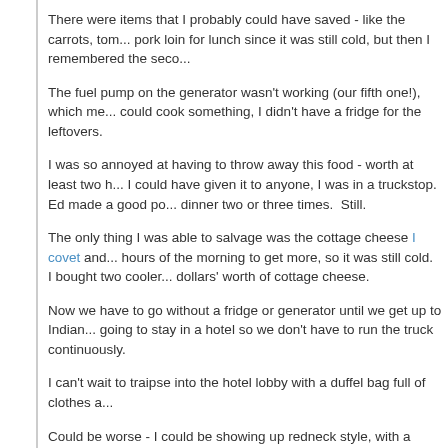There were items that I probably could have saved - like the carrots, tom... pork loin for lunch since it was still cold, but then I remembered the seco...
The fuel pump on the generator wasn't working (our fifth one!), which me... could cook something, I didn't have a fridge for the leftovers.
I was so annoyed at having to throw away this food - worth at least two h... I could have given it to anyone, I was in a truckstop. Ed made a good po... dinner two or three times. Still.
The only thing I was able to salvage was the cottage cheese I covet and... hours of the morning to get more, so it was still cold. I bought two cooler... dollars' worth of cottage cheese.
Now we have to go without a fridge or generator until we get up to Indian... going to stay in a hotel so we don't have to run the truck continuously.
I can't wait to traipse into the hotel lobby with a duffel bag full of clothes a...
Could be worse - I could be showing up redneck style, with a cooler full o...
~ ~ ~ ~ ~ ~ ~ ~ ~ ~